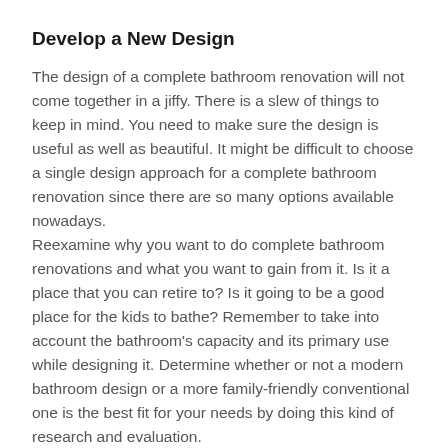Develop a New Design
The design of a complete bathroom renovation will not come together in a jiffy. There is a slew of things to keep in mind. You need to make sure the design is useful as well as beautiful. It might be difficult to choose a single design approach for a complete bathroom renovation since there are so many options available nowadays.
Reexamine why you want to do complete bathroom renovations and what you want to gain from it. Is it a place that you can retire to? Is it going to be a good place for the kids to bathe? Remember to take into account the bathroom's capacity and its primary use while designing it. Determine whether or not a modern bathroom design or a more family-friendly conventional one is the best fit for your needs by doing this kind of research and evaluation.